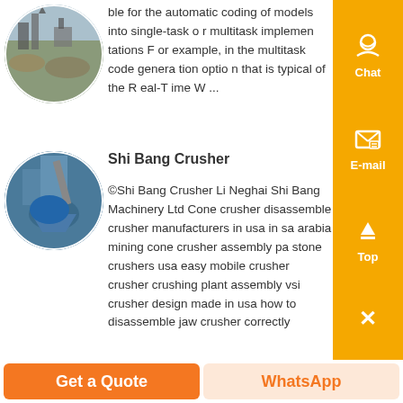[Figure (photo): Circular thumbnail photo of a mining/quarry site with heavy machinery]
ble for the automatic coding of models into single-task o r multitask implemen tations F or example, in the multitask code genera tion optio n that is typical of the R eal-T ime W ...
[Figure (photo): Circular thumbnail photo of Shi Bang Crusher cone crusher machine]
Shi Bang Crusher
©Shi Bang Crusher Li Neghai Shi Bang Machinery Ltd Cone crusher disassemble crusher manufacturers in usa in sa arabia mining cone crusher assembly pa stone crushers usa easy mobile crusher crusher crushing plant assembly vsi crusher design made in usa how to disassemble jaw crusher correctly
[Figure (infographic): Right sidebar with orange background containing Chat, E-mail, Top, and Close icons]
Get a Quote
WhatsApp